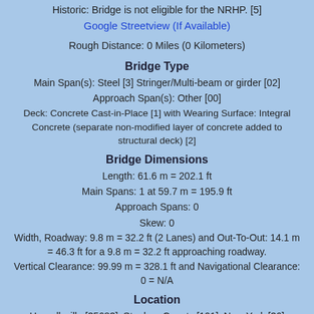Historic: Bridge is not eligible for the NRHP. [5]
Google Streetview (If Available)
Rough Distance: 0 Miles (0 Kilometers)
Bridge Type
Main Span(s): Steel [3] Stringer/Multi-beam or girder [02]
Approach Span(s): Other [00]
Deck: Concrete Cast-in-Place [1] with Wearing Surface: Integral Concrete (separate non-modified layer of concrete added to structural deck) [2]
Bridge Dimensions
Length: 61.6 m = 202.1 ft
Main Spans: 1 at 59.7 m = 195.9 ft
Approach Spans: 0
Skew: 0
Width, Roadway: 9.8 m = 32.2 ft (2 Lanes) and Out-To-Out: 14.1 m = 46.3 ft for a 9.8 m = 32.2 ft approaching roadway.
Vertical Clearance: 99.99 m = 328.1 ft and Navigational Clearance: 0 = N/A
Location
Hornellsville [35683]; Steuben County [101], New York [36]